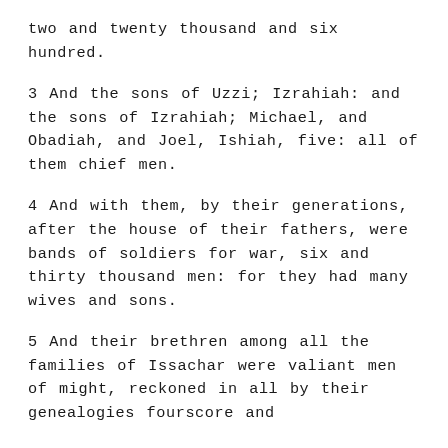two and twenty thousand and six hundred.
3 And the sons of Uzzi; Izrahiah: and the sons of Izrahiah; Michael, and Obadiah, and Joel, Ishiah, five: all of them chief men.
4 And with them, by their generations, after the house of their fathers, were bands of soldiers for war, six and thirty thousand men: for they had many wives and sons.
5 And their brethren among all the families of Issachar were valiant men of might, reckoned in all by their genealogies fourscore and